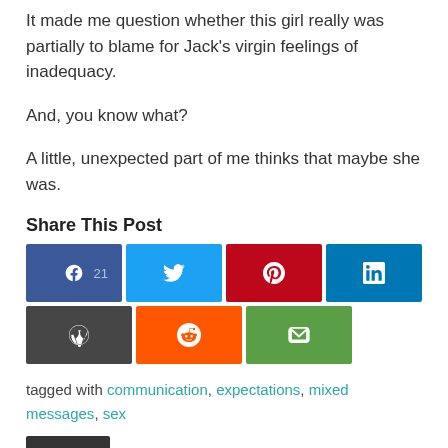It made me question whether this girl really was partially to blame for Jack’s virgin feelings of inadequacy.
And, you know what?
A little, unexpected part of me thinks that maybe she was.
Share This Post
[Figure (infographic): Social share buttons: Facebook (21), Twitter, Pinterest, LinkedIn, WordPress, Reddit, Email]
tagged with communication, expectations, mixed messages, sex
Dating